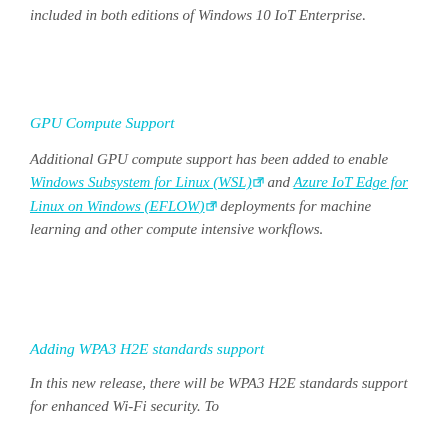included in both editions of Windows 10 IoT Enterprise.
GPU Compute Support
Additional GPU compute support has been added to enable Windows Subsystem for Linux (WSL) and Azure IoT Edge for Linux on Windows (EFLOW) deployments for machine learning and other compute intensive workflows.
Adding WPA3 H2E standards support
In this new release, there will be WPA3 H2E standards support for enhanced Wi-Fi security. To